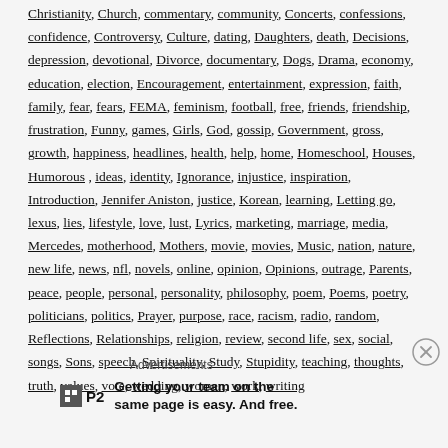Christianity, Church, commentary, community, Concerts, confessions, confidence, Controversy, Culture, dating, Daughters, death, Decisions, depression, devotional, Divorce, documentary, Dogs, Drama, economy, education, election, Encouragement, entertainment, expression, faith, family, fear, fears, FEMA, feminism, football, free, friends, friendship, frustration, Funny, games, Girls, God, gossip, Government, gross, growth, happiness, headlines, health, help, home, Homeschool, Houses, Humorous, ideas, identity, Ignorance, injustice, inspiration, Introduction, Jennifer Aniston, justice, Korean, learning, Letting go, lexus, lies, lifestyle, love, lust, Lyrics, marketing, marriage, media, Mercedes, motherhood, Mothers, movie, movies, Music, nation, nature, new life, news, nfl, novels, online, opinion, Opinions, outrage, Parents, peace, people, personal, personality, philosophy, poem, Poems, poetry, politicians, politics, Prayer, purpose, race, racism, radio, random, Reflections, Relationships, religion, review, second life, sex, social, songs, Sons, speech, Spirituality, Study, Stupidity, teaching, thoughts, truth, values, vote, wedding, women, work, writing
Advertisements
[Figure (other): Advertisement for P2: Getting your team on the same page is easy. And free. with P2 logo icon.]